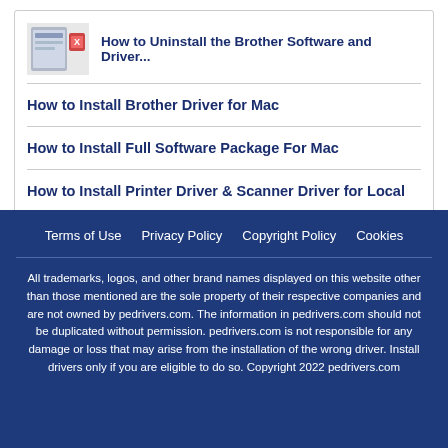How to Uninstall the Brother Software and Driver...
How to Install Brother Driver for Mac
How to Install Full Software Package For Mac
How to Install Printer Driver & Scanner Driver for Local ...
Terms of Use   Privacy Policy   Copyright Policy   Cookies
All trademarks, logos, and other brand names displayed on this website other than those mentioned are the sole property of their respective companies and are not owned by pedrivers.com. The information in pedrivers.com should not be duplicated without permission. pedrivers.com is not responsible for any damage or loss that may arise from the installation of the wrong driver. Install drivers only if you are eligible to do so. Copyright 2022 pedrivers.com